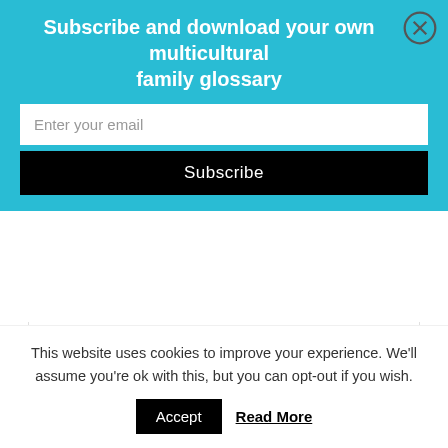Subscribe and download your own multicultural family glossary
Enter your email
Subscribe
Netherlands
October 18, 2019 by Wakanyi Hoffman
[Figure (photo): Article header image with text 'Fun Facts About' overlaid on a photo background]
This website uses cookies to improve your experience. We'll assume you're ok with this, but you can opt-out if you wish.
Accept  Read More